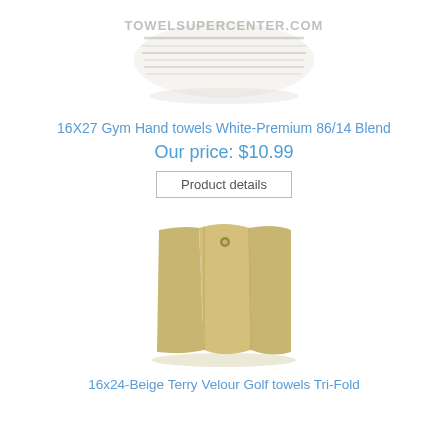[Figure (photo): White striped gym hand towel with TOWELSUPERCENTER.COM watermark]
16X27 Gym Hand towels White-Premium 86/14 Blend
Our price: $10.99
Product details
[Figure (photo): Beige tri-fold terry velour golf towel with grommet]
16x24-Beige Terry Velour Golf towels Tri-Fold